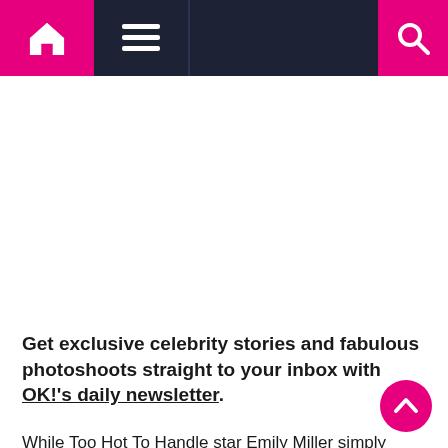Navigation bar with home icon, menu icon, and search icon
[Figure (other): White advertisement/image space]
Get exclusive celebrity stories and fabulous photoshoots straight to your inbox with OK!'s daily newsletter.
While Too Hot To Handle star Emily Miller simply wrote: “Qt x.”
Fans also chimed in, with several people calling Chloe